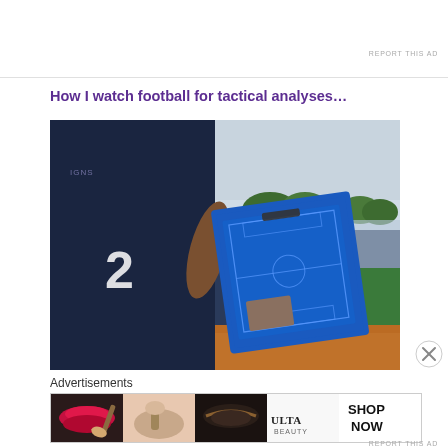REPORT THIS AD
How I watch football for tactical analyses…
[Figure (photo): Person in dark navy football jersey viewed from behind, holding a blue tactical clipboard/board with a football pitch diagram on it. Background shows a sports field with red running track, green trees, and an overcast sky.]
Advertisements
[Figure (photo): Ulta Beauty advertisement banner showing beauty/makeup imagery including lips with red lipstick, makeup brushes, eye makeup, the Ulta logo, and a 'SHOP NOW' call to action.]
REPORT THIS AD